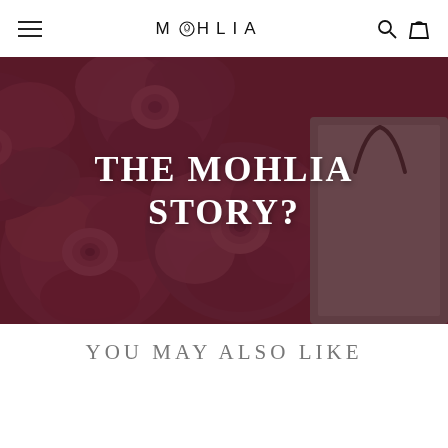MOHLIA navigation bar with hamburger menu, search icon, and cart icon
[Figure (photo): Close-up photo of pink/mauve roses in a box, with partial view of a gift bag handle on the right side. Dark rose-tinted overlay with white bold text reading 'THE MOHLIA STORY?']
THE MOHLIA STORY?
YOU MAY ALSO LIKE